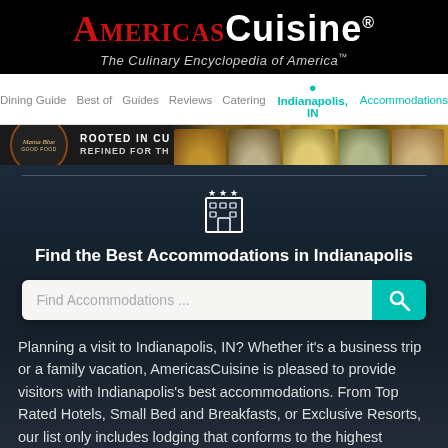AmericasCuisine® — The Culinary Encyclopedia of America™
Dining Guide   Best of   Guides   Reviews   Catering   Accommodations   📍 Indianapolis, IN
[Figure (illustration): Ad banner for MamaBlu Good Food restaurant: circular logo on dark background with text 'ROOTED IN CULINARY TRADITION REFINED FOR THE MODERN PALETTE' and food photography on the right.]
[Figure (illustration): Hotel icon with three stars, white outline on dark background]
Find the Best Accommodations in Indianapolis
Find Accommodations ...
Planning a visit to Indianapolis, IN? Whether it's a business trip or a family vacation, AmericasCuisine is pleased to provide visitors with Indianapolis's best accommodations. From Top Rated Hotels, Small Bed and Breakfasts, or Exclusive Resorts, our list only includes lodging that conforms to the highest